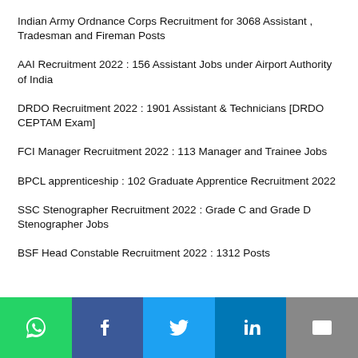Indian Army Ordnance Corps Recruitment for 3068 Assistant , Tradesman and Fireman Posts
AAI Recruitment 2022 : 156 Assistant Jobs under Airport Authority of India
DRDO Recruitment 2022 : 1901 Assistant & Technicians [DRDO CEPTAM Exam]
FCI Manager Recruitment 2022 : 113 Manager and Trainee Jobs
BPCL apprenticeship : 102 Graduate Apprentice Recruitment 2022
SSC Stenographer Recruitment 2022 : Grade C and Grade D Stenographer Jobs
BSF Head Constable Recruitment 2022 : 1312 Posts
[Figure (infographic): Social sharing bar with WhatsApp (green), Facebook (dark blue), Twitter (light blue), LinkedIn (blue), Email (grey) buttons each containing respective icons in white.]